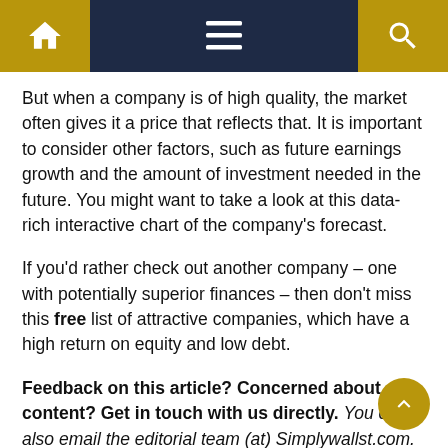[Navigation bar with home, menu, and search icons]
But when a company is of high quality, the market often gives it a price that reflects that. It is important to consider other factors, such as future earnings growth and the amount of investment needed in the future. You might want to take a look at this data-rich interactive chart of the company's forecast.
If you'd rather check out another company – one with potentially superior finances – then don't miss this free list of attractive companies, which have a high return on equity and low debt.
Feedback on this article? Concerned about content? Get in touch with us directly. You can also email the editorial team (at) Simplywallst.com.